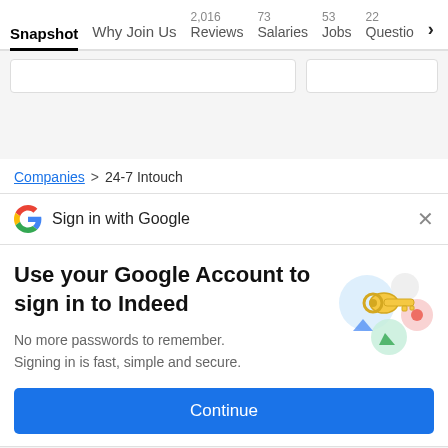Snapshot  Why Join Us  2,016 Reviews  73 Salaries  53 Jobs  22 Questio >
Companies > 24-7 Intouch
G  Sign in with Google  ×
Use your Google Account to sign in to Indeed
No more passwords to remember. Signing in is fast, simple and secure.
[Figure (illustration): Google sign-in illustration with a golden key and colorful circular icons]
Continue